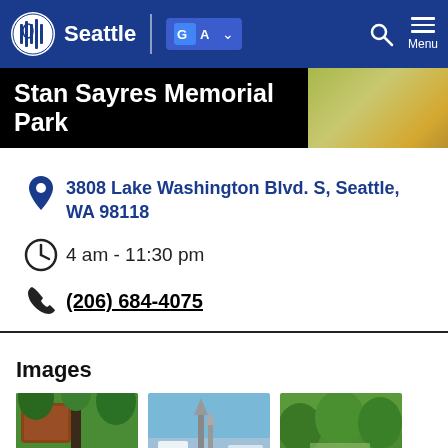Seattle | Google Translate | Search | Menu
Stan Sayres Memorial Park
3808 Lake Washington Blvd. S, Seattle, WA 98118
4 am - 11:30 pm
(206) 684-4075
Images
[Figure (photo): Three thumbnail photos of Stan Sayres Memorial Park: park sign with trees, waterfront with boats/sculpture, aerial view of park and trees]